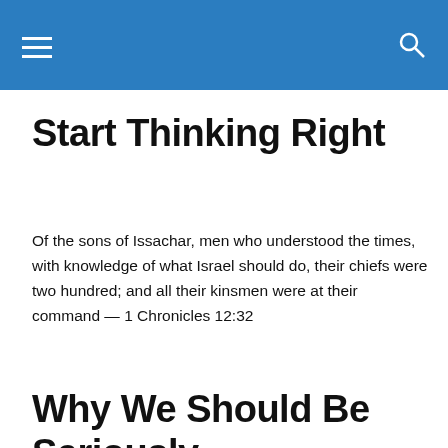Start Thinking Right
Of the sons of Issachar, men who understood the times, with knowledge of what Israel should do, their chiefs were two hundred; and all their kinsmen were at their command — 1 Chronicles 12:32
Why We Should Be Seriously Contemplating The Great
Privacy & Cookies: This site uses cookies. By continuing to use this website, you agree to their use.
To find out more, including how to control cookies, see here: Cookie Policy
Close and accept